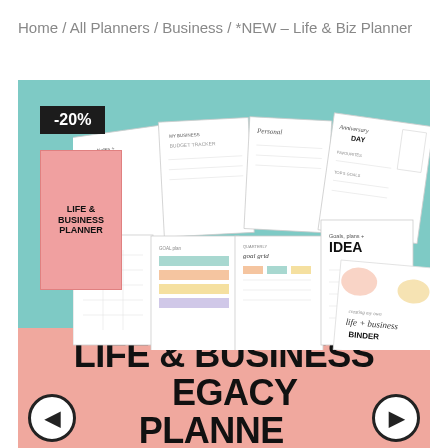Home / All Planners / Business / *NEW – Life & Biz Planner
[Figure (photo): Product image showing Life & Business Planner with multiple planner pages fanned out on a teal background, with a -20% badge, and a pink bottom section with bold text 'LIFE & BUSINESS LEGACY PLANNER' and navigation arrows.]